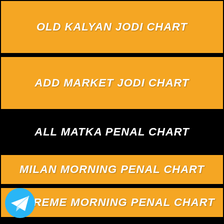OLD KALYAN JODI CHART
ADD MARKET JODI CHART
ALL MATKA PENAL CHART
MILAN MORNING PENAL CHART
SUPREME MORNING PENAL CHART
SRIDEVI PENAL CHART
KALYAN MORNING PENAL CHART
TIME BAZAR PENAL CHART